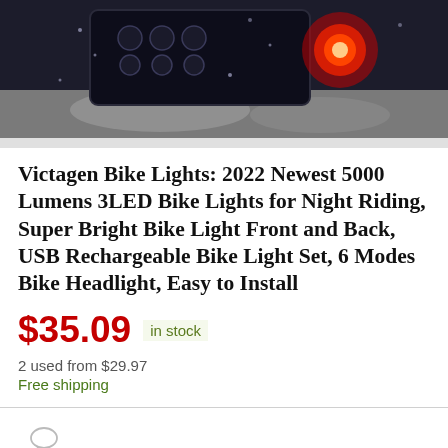[Figure (photo): Product photo of Victagen bike lights showing front and rear LED lights mounted on a bike, dark background with rain/water droplets and red tail light glowing]
Victagen Bike Lights: 2022 Newest 5000 Lumens 3LED Bike Lights for Night Riding, Super Bright Bike Light Front and Back, USB Rechargeable Bike Light Set, 6 Modes Bike Headlight, Easy to Install
$35.09  in stock
2 used from $29.97
Free shipping
Leave a Comment